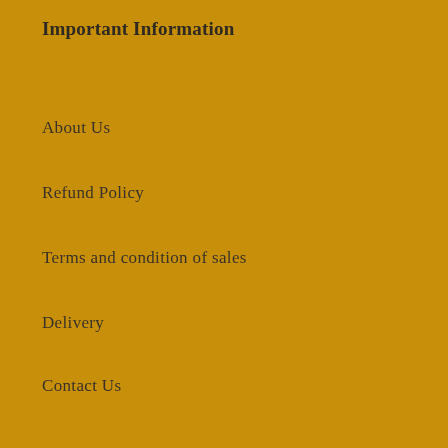Important Information
About Us
Refund Policy
Terms and condition of sales
Delivery
Contact Us
Privacy Policy
Terms of Service
Refund policy